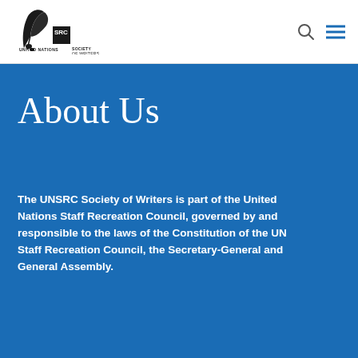[Figure (logo): UNSRC Society of Writers logo — a feather quill and ink with text 'UNITED NATIONS SRC SOCIETY OF WRITERS']
UNSRC Society of Writers header navigation with search and menu icons
About Us
The UNSRC Society of Writers is part of the United Nations Staff Recreation Council, governed by and responsible to the laws of the Constitution of the UN Staff Recreation Council, the Secretary-General and General Assembly.